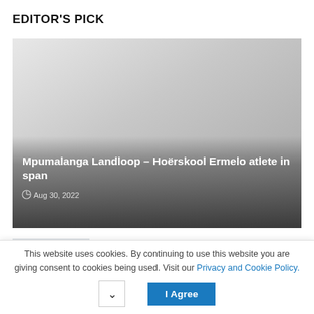EDITOR'S PICK
[Figure (photo): Featured article image with dark gradient overlay showing headline text]
Mpumalanga Landloop – Hoërskool Ermelo atlete in span
Aug 30, 2022
[Figure (photo): Thumbnail image for secondary article]
Selly Park Soccer League – Silver all around for Grenville
This website uses cookies. By continuing to use this website you are giving consent to cookies being used. Visit our Privacy and Cookie Policy.
I Agree